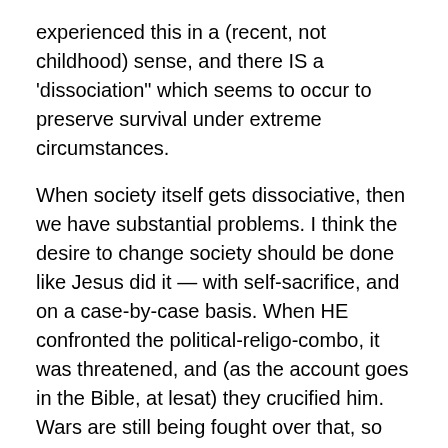experienced this in a (recent, not childhood) sense, and there IS a ‘dissociation” which seems to occur to preserve survival under extreme circumstances.
When society itself gets dissociative, then we have substantial problems.  I think the desire to change society should be done like Jesus did it — with self-sacrifice, and on a case-by-case basis.  When HE confronted the political-religo-combo, it was threatened, and (as the account goes in the Bible, at lesat) they crucified him.  Wars are still being fought over that, so perhaps if we could cool it on the institutional SIZE, the RELIGIOUS aspects of any institution might be minimized and deflected.
As I write, my President is pushing the HEALTHCARE initiative, which I oppose on the basis of it's going to end